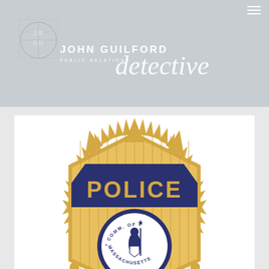[Figure (logo): John Guilford Public Relations logo with interlocking letters and white text on grey background]
detective
[Figure (illustration): Massachusetts Police badge illustration with gold/yellow star badge shape, navy blue POLICE banner, and Commonwealth of Massachusetts seal in center showing figure holding staff and sword]